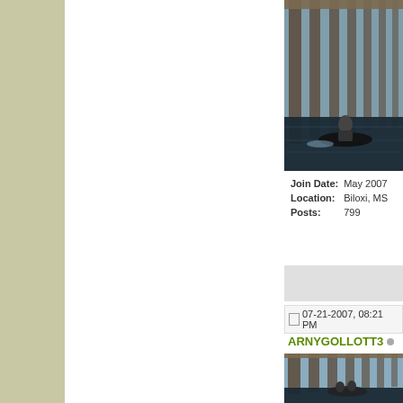[Figure (photo): Person riding a jet ski under a large wooden bridge/pier structure over dark water]
Join Date: May 2007
Location: Biloxi, MS
Posts: 799
07-21-2007, 08:21 PM
ARNYGOLLOTT3
[Figure (photo): People in a boat under a large wooden bridge/pier structure over dark water]